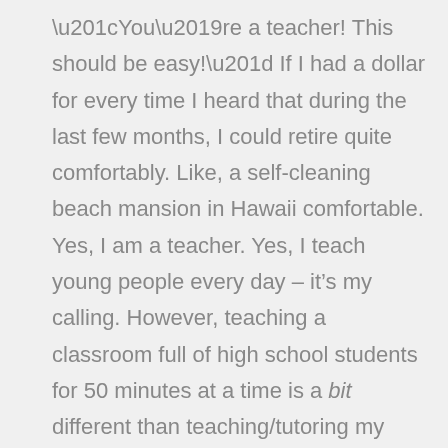“You’re a teacher! This should be easy!” If I had a dollar for every time I heard that during the last few months, I could retire quite comfortably. Like, a self-cleaning beach mansion in Hawaii comfortable. Yes, I am a teacher. Yes, I teach young people every day – it’s my calling. However, teaching a classroom full of high school students for 50 minutes at a time is a bit different than teaching/tutoring my own daughters (a fabulous first grader and a terrific third grader) math, reading, science, social studies, and all of the other things simultaneously, while holding live lectures, answering emails, participating in meetings,